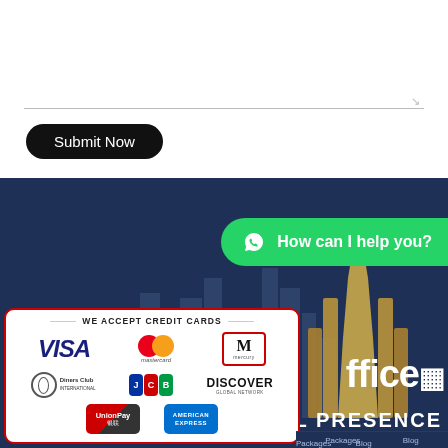[Figure (screenshot): White form area with text area input and a black rounded 'Submit Now' button]
[Figure (screenshot): Dark navy website footer section with WhatsApp chat button reading 'How can I help you?', city skyline silhouette, gold tower logo with partial text 'ffice' and 'AL PRESENCE', and a white credit card acceptance panel showing VISA, Mastercard, Mercury, Diners Club International, JCB, Discover Global Network, UnionPay, and American Express logos with red border and header 'WE ACCEPT CREDIT CARDS']